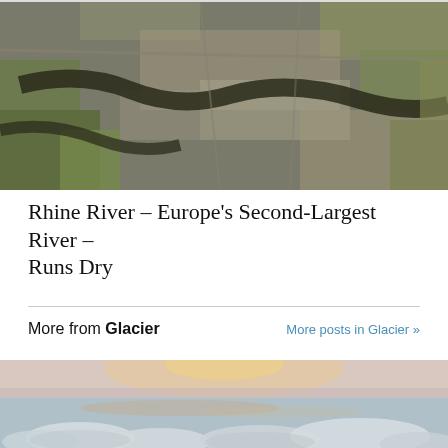[Figure (photo): Aerial satellite view of Rhine River and surrounding urban landscape with rivers, roads and farmland]
Rhine River – Europe's Second-Largest River – Runs Dry
More from Glacier
More posts in Glacier »
[Figure (photo): Aerial photo of icy glacial or frozen water surface with ice floes and misty pink sunrise light]